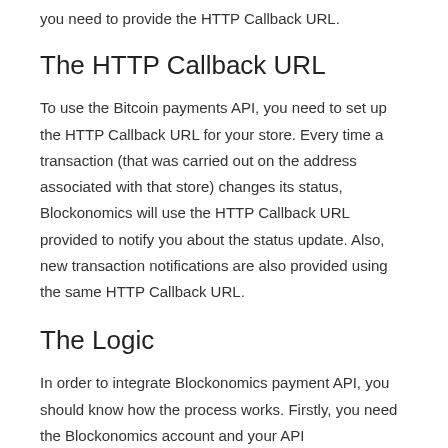you need to provide the HTTP Callback URL.
The HTTP Callback URL
To use the Bitcoin payments API, you need to set up the HTTP Callback URL for your store. Every time a transaction (that was carried out on the address associated with that store) changes its status, Blockonomics will use the HTTP Callback URL provided to notify you about the status update. Also, new transaction notifications are also provided using the same HTTP Callback URL.
The Logic
In order to integrate Blockonomics payment API, you should know how the process works. Firstly, you need the Blockonomics account and your API